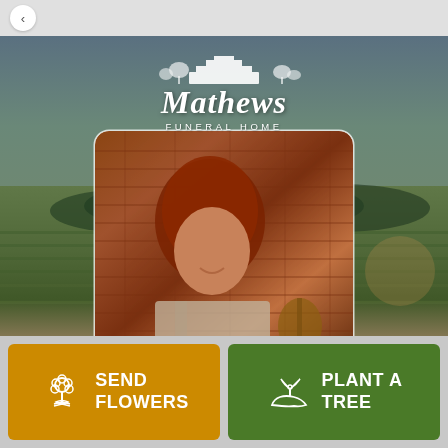[Figure (logo): Mathews Funeral Home logo with white text and building illustration on dark background]
[Figure (photo): Portrait photo of a woman with auburn/red hair smiling, standing against a brick wall, holding what appears to be a guitar]
SEND FLOWERS
PLANT A TREE